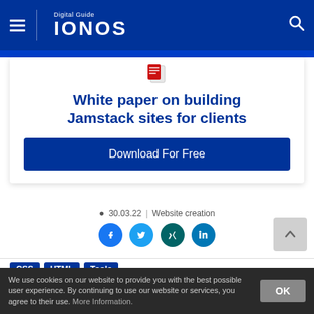Digital Guide IONOS
[Figure (illustration): Red and white document/bookmark icon]
White paper on building Jamstack sites for clients
Download For Free
30.03.22 | Website creation
[Figure (illustration): Social media share icons: Facebook, Twitter, Xing, LinkedIn]
CSS
HTML
Tools
We use cookies on our website to provide you with the best possible user experience. By continuing to use our website or services, you agree to their use. More Information.